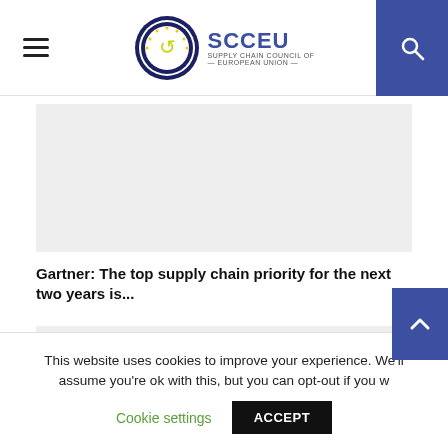SCCEU — Supply Chain Council of European Union
[Figure (photo): Gray placeholder image block (top article image)]
Gartner: The top supply chain priority for the next two years is...
[Figure (photo): Gray placeholder image block (bottom article image)]
This website uses cookies to improve your experience. We'll assume you're ok with this, but you can opt-out if you w
Cookie settings
ACCEPT